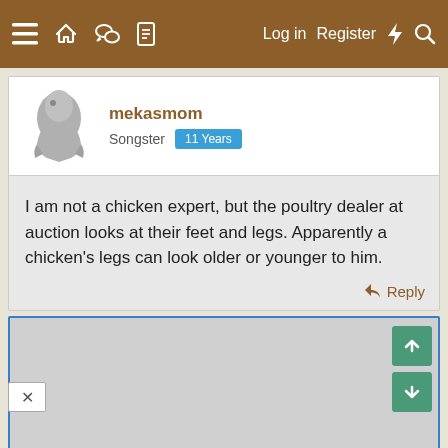≡  🏠  💬  📄    Log in  Register  ⚡  🔍
mekakasmom
Songster  11 Years
I am not a chicken expert, but the poultry dealer at auction looks at their feet and legs. Apparently a chicken's legs can look older or younger to him.
↩ Reply